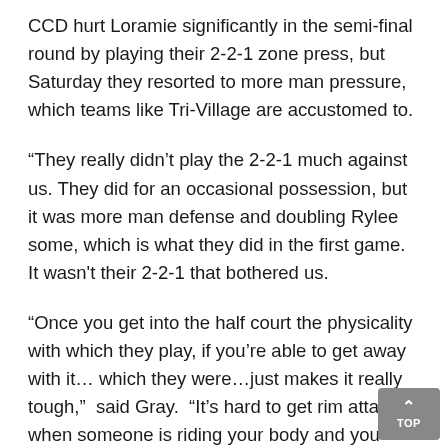CCD hurt Loramie significantly in the semi-final round by playing their 2-2-1 zone press, but Saturday they resorted to more man pressure, which teams like Tri-Village are accustomed to.
“They really didn’t play the 2-2-1 much against us. They did for an occasional possession, but it was more man defense and doubling Rylee some, which is what they did in the first game. It wasn’t their 2-2-1 that bothered us.
“Once you get into the half court the physicality with which they play, if you’re able to get away with it… which they were…just makes it really tough,” said Gray. “It’s hard to get rim attacks when someone is riding your body and you have to deal with it for 55 feet up the floor. It really wears on you. They do a